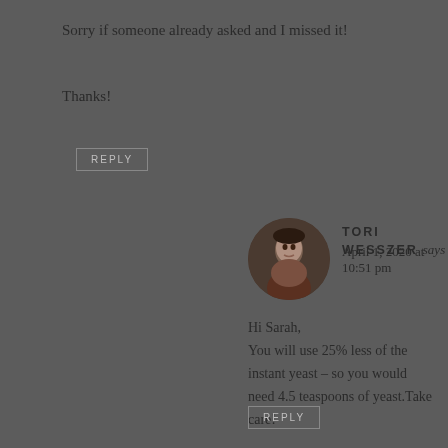Sorry if someone already asked and I missed it!
Thanks!
REPLY
TORI WESSZER says
April 1, 2020 at 10:51 pm
Hi Sarah,
You will use 25% less of the instant yeast – so you would need 4.5 teaspoons of yeast.Take care!
REPLY